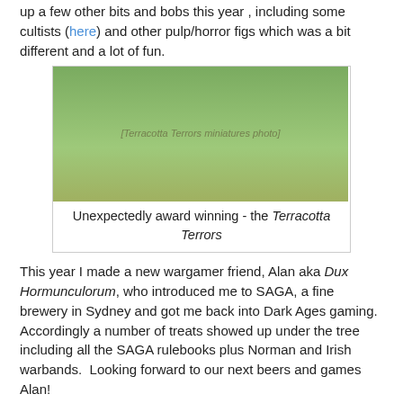up a few other bits and bobs this year , including some cultists (here) and other pulp/horror figs which was a bit different and a lot of fun.
[Figure (photo): Group photo of painted miniature figurines (Terracotta Terrors) on a green background]
Unexpectedly award winning - the Terracotta Terrors
This year I made a new wargamer friend, Alan aka Dux Hormunculorum, who introduced me to SAGA, a fine brewery in Sydney and got me back into Dark Ages gaming. Accordingly a number of treats showed up under the tree including all the SAGA rulebooks plus Norman and Irish warbands. Looking forward to our next beers and games Alan!
Life events included an amazing year at work in a position I have aspired to for over 20 years, I
[Figure (photo): Photo of two men at a bar or restaurant]